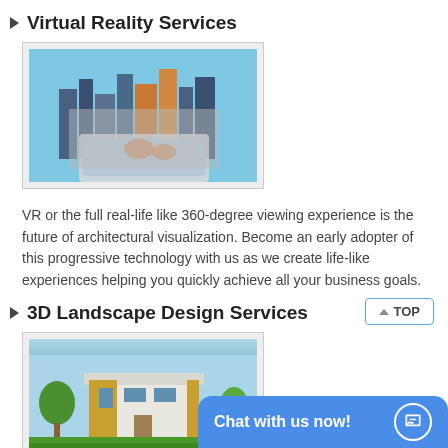Virtual Reality Services
[Figure (photo): Person holding a tablet displaying a 3D cityscape with tall buildings. VR/architectural visualization concept image.]
VR or the full real-life like 360-degree viewing experience is the future of architectural visualization. Become an early adopter of this progressive technology with us as we create life-like experiences helping you quickly achieve all your business goals.
3D Landscape Design Services
[Figure (photo): Modern house exterior with yellow and white facade, trees, and landscaping. 3D architectural rendering.]